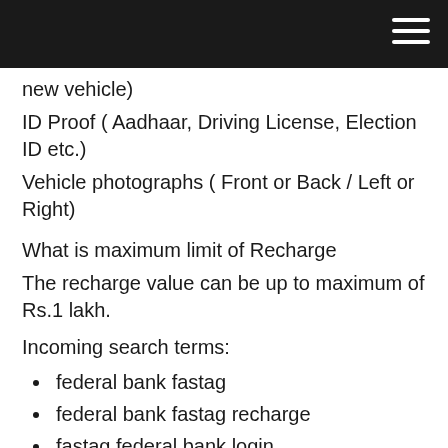new vehicle)
ID Proof ( Aadhaar, Driving License, Election ID etc.)
Vehicle photographs ( Front or Back / Left or Right)
What is maximum limit of Recharge
The recharge value can be up to maximum of Rs.1 lakh.
Incoming search terms:
federal bank fastag
federal bank fastag recharge
fastag federal bank login
fastag federal bank